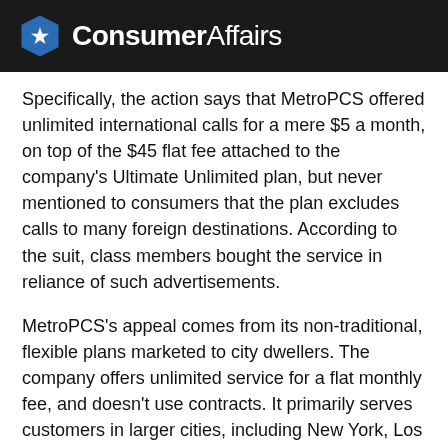ConsumerAffairs
Specifically, the action says that MetroPCS offered unlimited international calls for a mere $5 a month, on top of the $45 flat fee attached to the company's Ultimate Unlimited plan, but never mentioned to consumers that the plan excludes calls to many foreign destinations. According to the suit, class members bought the service in reliance of such advertisements.
MetroPCS's appeal comes from its non-traditional, flexible plans marketed to city dwellers. The company offers unlimited service for a flat monthly fee, and doesn't use contracts. It primarily serves customers in larger cities, including New York, Los Angeles, San Francisco, Boston, Miami, and San Francisco. It doesn't take much effort to find ads sporting MetroPCS's trademark orange and purple logo